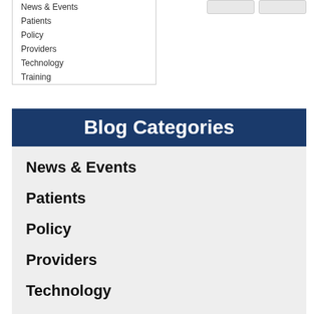News & Events
Patients
Policy
Providers
Technology
Training
Blog Categories
News & Events
Patients
Policy
Providers
Technology
Training
mHealth